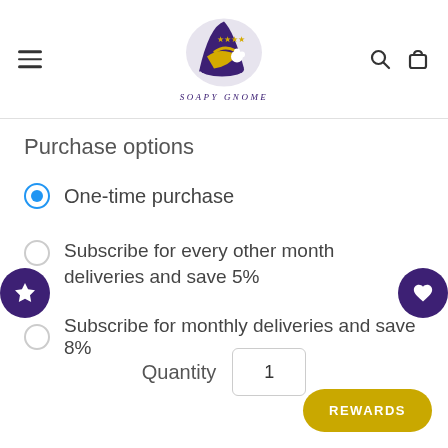[Figure (logo): Soapy Gnome logo — purple gnome hat with a yellow bird/dove and floral element, circular design with text 'SOAPY GNOME' below in purple italic lettering]
Purchase options
One-time purchase
Subscribe for every other month deliveries and save 5%
Subscribe for monthly deliveries and save 8%
Quantity  1
REWARDS